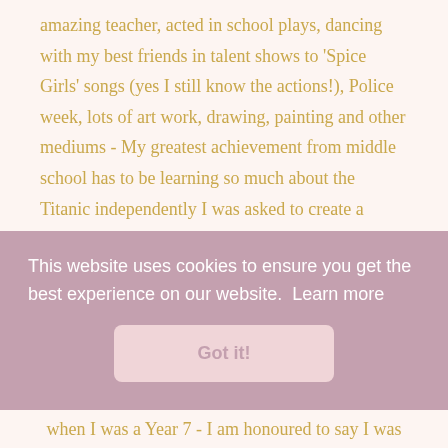amazing teacher, acted in school plays, dancing with my best friends in talent shows to 'Spice Girls' songs (yes I still know the actions!), Police week, lots of art work, drawing, painting and other mediums - My greatest achievement from middle school has to be learning so much about the Titanic independently I was asked to create a display in the main hall and hold an assembly all about the Titanic - and I still remember a lot of it!
This website uses cookies to ensure you get the best experience on our website.  Learn more
Got it!
when I was a Year 7 - I am honoured to say I was